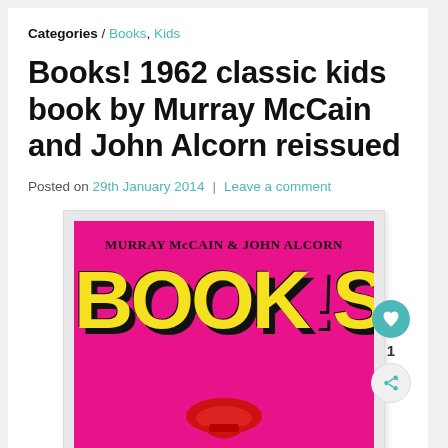Categories / Books, Kids
Books! 1962 classic kids book by Murray McCain and John Alcorn reissued
Posted on 29th January 2014  |  Leave a comment
[Figure (photo): Book cover of 'Books!' written by Murray McCain with drawings by John Alcorn. Magenta/pink background with large yellow block letters spelling BOOKS! with black shadow effect. Red illustrated hat or object at bottom.]